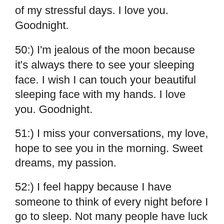of my stressful days. I love you. Goodnight.
50:) I'm jealous of the moon because it's always there to see your sleeping face. I wish I can touch your beautiful sleeping face with my hands. I love you. Goodnight.
51:) I miss your conversations, my love, hope to see you in the morning. Sweet dreams, my passion.
52:) I feel happy because I have someone to think of every night before I go to sleep. Not many people have luck like mine. Goodnight!
53:) I dream that we should be together forever. Goodnight, my love.